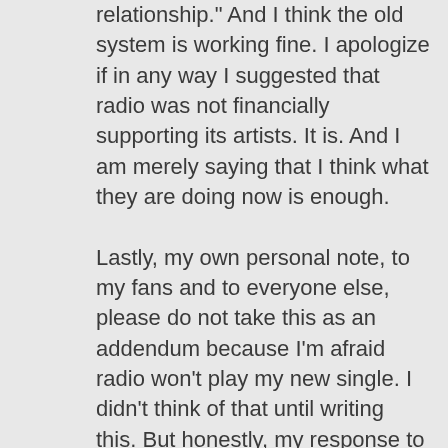relationship." And I think the old system is working fine. I apologize if in any way I suggested that radio was not financially supporting its artists. It is. And I am merely saying that I think what they are doing now is enough.
Lastly, my own personal note, to my fans and to everyone else, please do not take this as an addendum because I'm afraid radio won't play my new single. I didn't think of that until writing this. But honestly, my response to radio is the same as it's always been. I appreciate what they do because I am a listener. As far as my music goes, I expect you to seek the Lord on what to play on your station. If it's Joy Unspeakable, then play it. If it's not, then don't. I can't ask any more than that. And due to that trust in your decision making, I felt that we could address these things now. I am no mediator. I don't even know